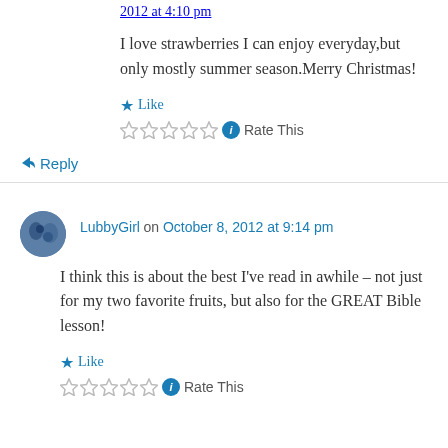2012 at 4:10 pm
I love strawberries I can enjoy everyday,but only mostly summer season.Merry Christmas!
★ Like
☆☆☆☆☆ ℹ Rate This
↳ Reply
LubbyGirl on October 8, 2012 at 9:14 pm
I think this is about the best I've read in awhile – not just for my two favorite fruits, but also for the GREAT Bible lesson!
★ Like
☆☆☆☆☆ ℹ Rate This